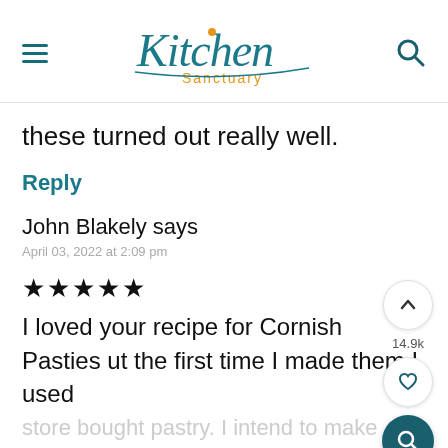Kitchen Sanctuary
these turned out really well.
Reply
John Blakely says
April 03, 2022 at 2:09 pm
★★★★★
I loved your recipe for Cornish Pasties ut the first time I made them I used store bought pastry. I intend to make it with your recipe this time but I have